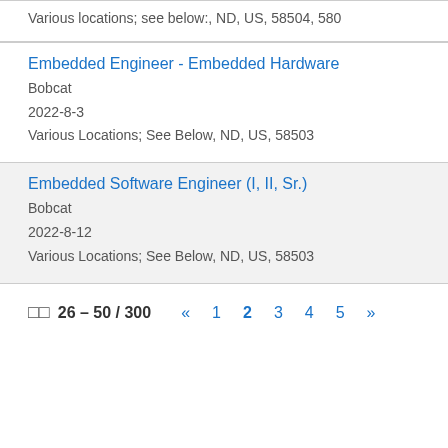Various locations; see below:, ND, US, 58504, 580
Embedded Engineer - Embedded Hardware
Bobcat
2022-8-3
Various Locations; See Below, ND, US, 58503
Embedded Software Engineer (I, II, Sr.)
Bobcat
2022-8-12
Various Locations; See Below, ND, US, 58503
26 – 50 / 300   « 1 2 3 4 5 »